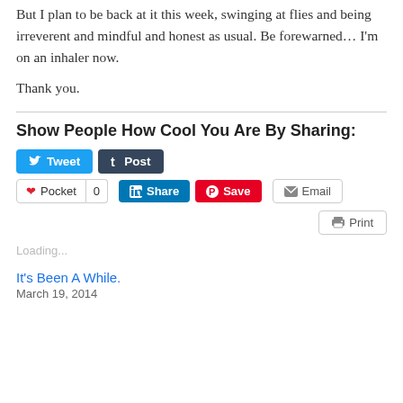But I plan to be back at it this week, swinging at flies and being irreverent and mindful and honest as usual. Be forewarned… I'm on an inhaler now.
Thank you.
Show People How Cool You Are By Sharing:
[Figure (other): Social sharing buttons: Tweet, Post (Tumblr), Pocket (with count 0), LinkedIn Share, Pinterest Save, Email, Print]
Loading...
It's Been A While.
March 19, 2014